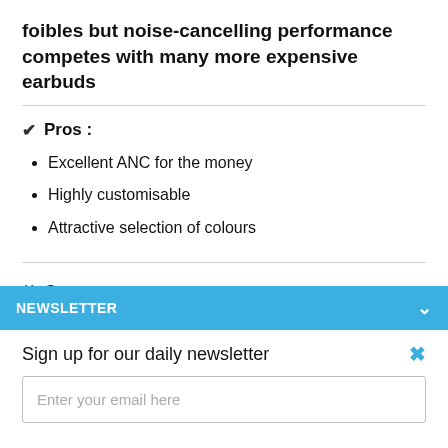foibles but noise-cancelling performance competes with many more expensive earbuds
✔ Pros :
Excellent ANC for the money
Highly customisable
Attractive selection of colours
✖ Cons :
Fit can be fiddly
NEWSLETTER
Sign up for our daily newsletter
Enter your email here